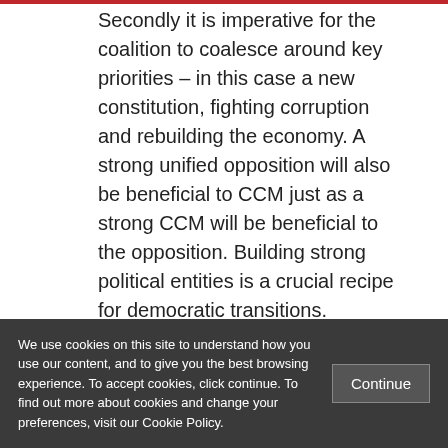Secondly it is imperative for the coalition to coalesce around key priorities – in this case a new constitution, fighting corruption and rebuilding the economy. A strong unified opposition will also be beneficial to CCM just as a strong CCM will be beneficial to the opposition. Building strong political entities is a crucial recipe for democratic transitions.
Independence of the Electoral Commission
One of the recommendations outlined in the
We use cookies on this site to understand how you use our content, and to give you the best browsing experience. To accept cookies, click continue. To find out more about cookies and change your preferences, visit our Cookie Policy.